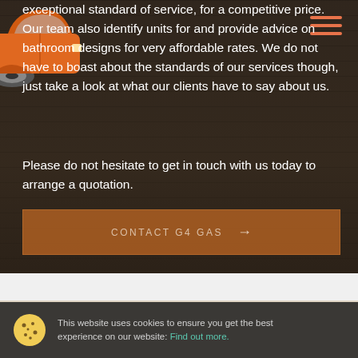exceptional standard of service, for a competitive price. Our team also identify units for and provide advice on bathroom designs for very affordable rates. We do not have to boast about the standards of our services though, just take a look at what our clients have to say about us.
Please do not hesitate to get in touch with us today to arrange a quotation.
[Figure (other): Orange car partially visible in top-left corner of the page]
[Figure (other): Hamburger menu icon (three orange horizontal lines) in top-right corner]
CONTACT G4 GAS →
This website uses cookies to ensure you get the best experience on our website: Find out more.